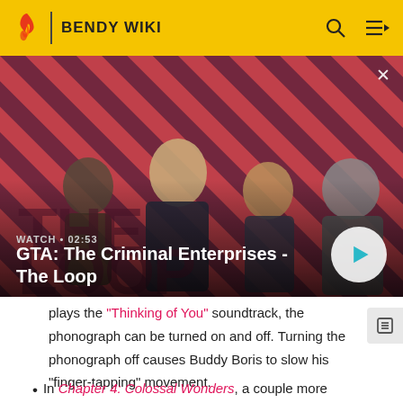BENDY WIKI
[Figure (screenshot): GTA: The Criminal Enterprises - The Loop video thumbnail with four characters on a red diagonal striped background. Shows WATCH • 02:53 label and a play button.]
plays the "Thinking of You" soundtrack, the phonograph can be turned on and off. Turning the phonograph off causes Buddy Boris to slow his "finger-tapping" movement.
In Chapter 4: Colossal Wonders, a couple more